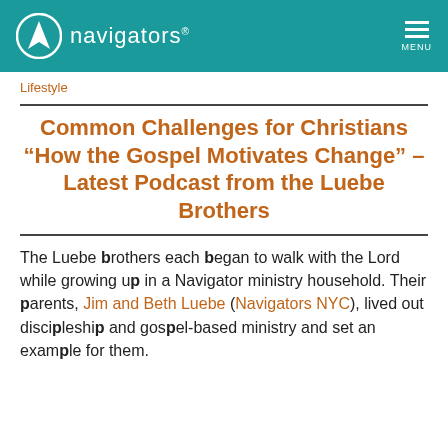navigators — MENU
Lifestyle
Common Challenges for Christians “How the Gospel Motivates Change” – Latest Podcast from the Luebe Brothers
The Luebe brothers each began to walk with the Lord while growing up in a Navigator ministry household. Their parents, Jim and Beth Luebe (Navigators NYC), lived out discipleship and gospel-based ministry and set an example for them.